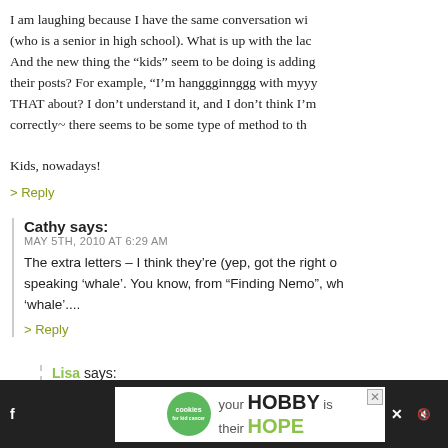I am laughing because I have the same conversation with (who is a senior in high school). What is up with the lac And the new thing the "kids" seem to be doing is adding their posts? For example, "I'm hanggginnggg with myyy THAT about? I don't understand it, and I don't think I'm correctly~ there seems to be some type of method to th Kids, nowadays!
> Reply
Cathy says:
MAY 5TH, 2010 AT 6:29 AM
The extra letters – I think they're (yep, got the right o speaking 'whale'. You know, from "Finding Nemo", wh 'whale'....
> Reply
Lisa says:
MAY 5TH, 2010 AT 9:54 AM
[Figure (screenshot): Advertisement banner: cookies for kid cancer charity with text 'your HOBBY is their HOPE']